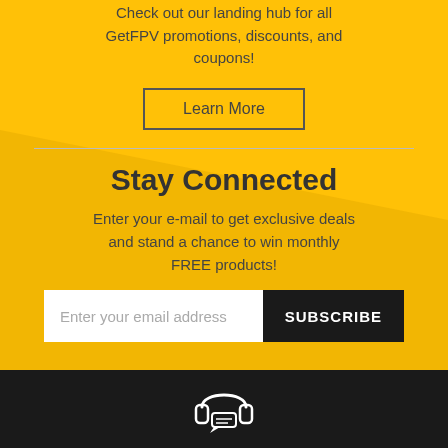Check out our landing hub for all GetFPV promotions, discounts, and coupons!
Learn More
Stay Connected
Enter your e-mail to get exclusive deals and stand a chance to win monthly FREE products!
Enter your email address  SUBSCRIBE
[Figure (illustration): Headset/headphones with chat icon in white on black background]